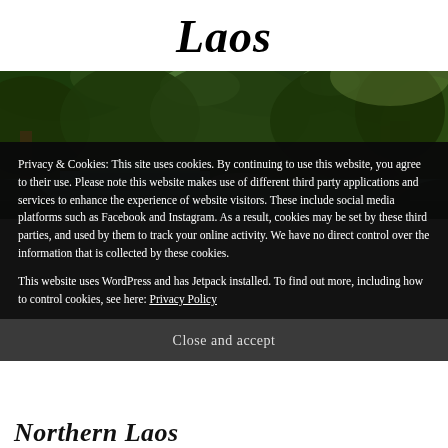Laos
[Figure (photo): Panoramic photo of tiered waterfalls surrounded by lush tropical forest with sunlight filtering through dense green canopy]
Privacy & Cookies: This site uses cookies. By continuing to use this website, you agree to their use. Please note this website makes use of different third party applications and services to enhance the experience of website visitors. These include social media platforms such as Facebook and Instagram. As a result, cookies may be set by these third parties, and used by them to track your online activity. We have no direct control over the information that is collected by these cookies.
This website uses WordPress and has Jetpack installed. To find out more, including how to control cookies, see here: Privacy Policy
Close and accept
Northern Laos